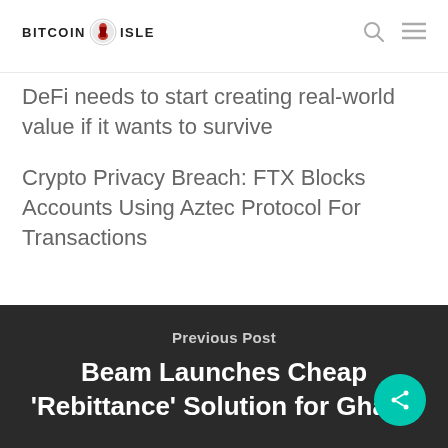BITCOIN ISLE
DeFi needs to start creating real-world value if it wants to survive
Crypto Privacy Breach: FTX Blocks Accounts Using Aztec Protocol For Transactions
Previous Post
Beam Launches Cheap 'Rebittance' Solution for Ghana